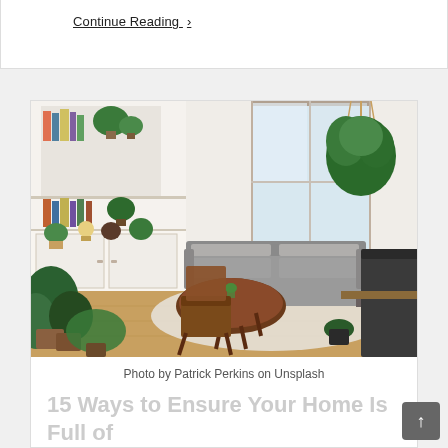Continue Reading ›
[Figure (photo): A bright living room interior with plants on shelves, a gray sofa, wooden coffee table and chairs, hanging macrame plant holder, and natural light from a window.]
Photo by Patrick Perkins on Unsplash
15 Ways to Ensure Your Home Is Full of Positive Vibes